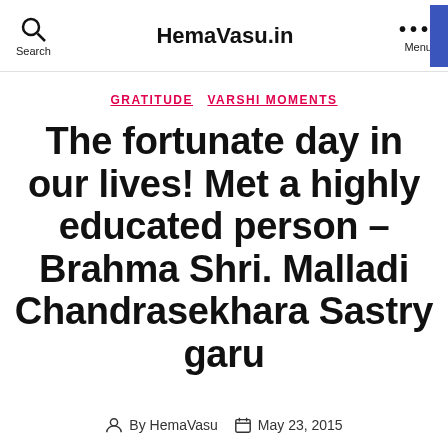HemaVasu.in
GRATITUDE  VARSHI MOMENTS
The fortunate day in our lives! Met a highly educated person – Brahma Shri. Malladi Chandrasekhara Sastry garu
By HemaVasu  May 23, 2015